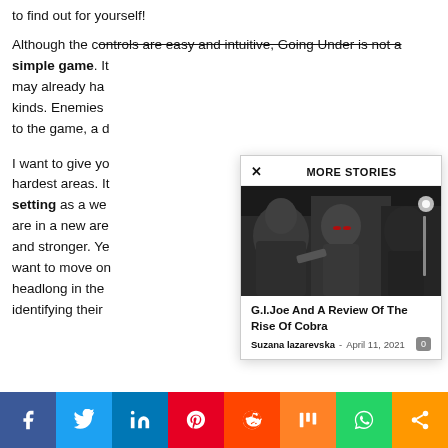to find out for yourself!
Although the controls are easy and intuitive, Going Under is not a simple game. It may already have kinds. Enemies to the game, a d
I want to give you hardest areas. It setting as a we are in a new are and stronger. Ye want to move on headlong in the identifying their
[Figure (screenshot): MORE STORIES modal popup showing a G.I. Joe movie image and article title]
G.I.Joe And A Review Of The Rise Of Cobra
Suzana lazarevska - April 11, 2021
[Figure (other): Social sharing bar with Facebook, Twitter, LinkedIn, Pinterest, Reddit, Mix, WhatsApp, and share icons]